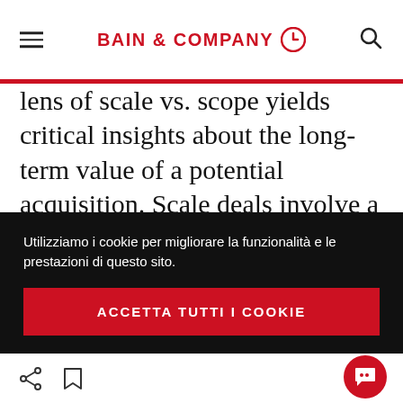BAIN & COMPANY
lens of scale vs. scope yields critical insights about the long-term value of a potential acquisition. Scale deals involve a high degree of business overlap between the target and acquirer, fueling a company's expansion in its existing business. In scope deals, the target is a related but distinct business, enabling an
Utilizziamo i cookie per migliorare la funzionalità e le prestazioni di questo sito.
ACCETTA TUTTI I COOKIE